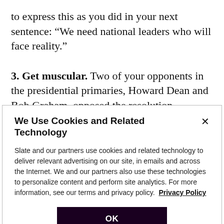to express this as you did in your next sentence: “We need national leaders who will face reality.”
3. Get muscular. Two of your opponents in the presidential primaries, Howard Dean and Bob Graham, opposed the resolution authorizing force in Iraq. Dean sounded like he wanted foreign threats to go away so he could focus on domestic policy. Graham sounded like he wanted to personally beat the living daylights out of
We Use Cookies and Related Technology
Slate and our partners use cookies and related technology to deliver relevant advertising on our site, in emails and across the Internet. We and our partners also use these technologies to personalize content and perform site analytics. For more information, see our terms and privacy policy. Privacy Policy
OK